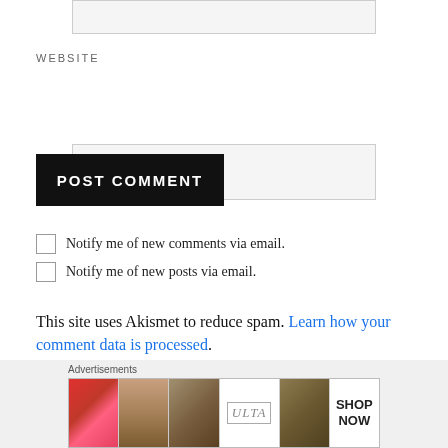[Figure (screenshot): Top portion of a text input box (partially visible at top of page)]
WEBSITE
[Figure (screenshot): Website URL input text field (empty, light gray background)]
POST COMMENT
Notify me of new comments via email.
Notify me of new posts via email.
This site uses Akismet to reduce spam. Learn how your comment data is processed.
[Figure (screenshot): Advertisement banner showing Ulta Beauty cosmetics ad with close button]